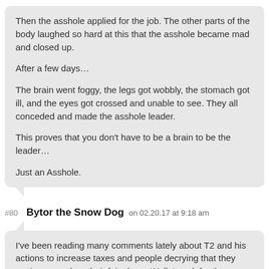Then the asshole applied for the job. The other parts of the body laughed so hard at this that the asshole became mad and closed up.

After a few days…

The brain went foggy, the legs got wobbly, the stomach got ill, and the eyes got crossed and unable to see. They all conceded and made the asshole leader.

This proves that you don't have to be a brain to be the leader…

Just an Asshole.
#80  Bytor the Snow Dog  on 02.20.17 at 9:18 am
I've been reading many comments lately about T2 and his actions to increase taxes and people decrying that they paying more than their fair share. Well, I work for the government and I'm here to help!

As I have said before I work for a municipal government here in SW Ontario. Without doxing myself I would like to say I know what drives